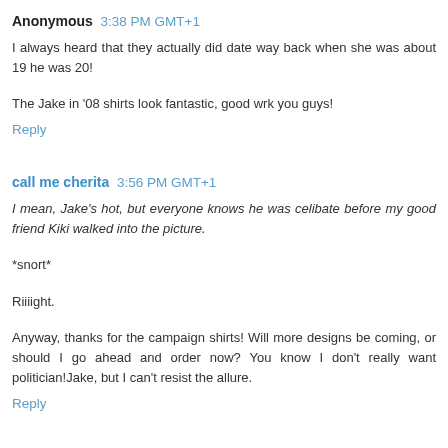Anonymous 3:38 PM GMT+1
I always heard that they actually did date way back when she was about 19 he was 20!
The Jake in '08 shirts look fantastic, good wrk you guys!
Reply
call me cherita 3:56 PM GMT+1
I mean, Jake's hot, but everyone knows he was celibate before my good friend Kiki walked into the picture.
*snort*
Riiiight.
Anyway, thanks for the campaign shirts! Will more designs be coming, or should I go ahead and order now? You know I don't really want politician!Jake, but I can't resist the allure.
Reply